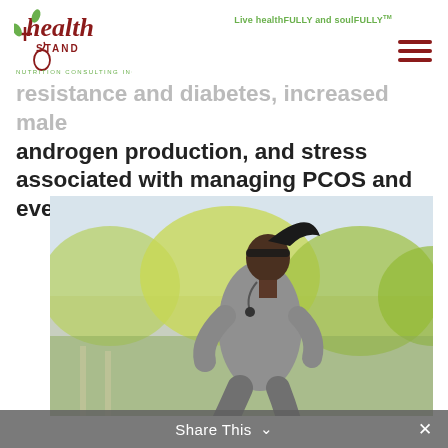Health Stand Nutrition Consulting Inc. | Live healthFULLY and soulFULLY™
resistance and diabetes, increased male androgen production, and stress associated with managing PCOS and everyday life.
[Figure (photo): A Black woman with hair in a ponytail, wearing a grey long-sleeve athletic top, jogging outdoors with blurred green trees in the background.]
Share This ∨  ✕